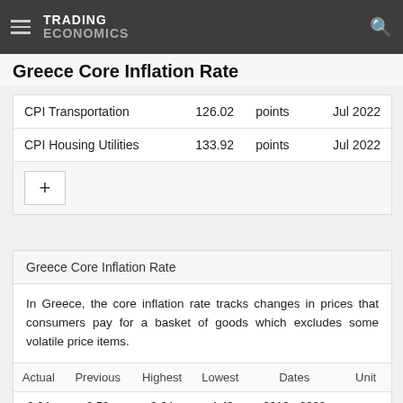TRADING ECONOMICS
Greece Core Inflation Rate
|  |  |  |  |
| --- | --- | --- | --- |
| CPI Transportation | 126.02 | points | Jul 2022 |
| CPI Housing Utilities | 133.92 | points | Jul 2022 |
Greece Core Inflation Rate
In Greece, the core inflation rate tracks changes in prices that consumers pay for a basket of goods which excludes some volatile price items.
| Actual | Previous | Highest | Lowest | Dates | Unit |
| --- | --- | --- | --- | --- | --- |
| 3.64 | 2.53 | 3.64 | -4.40 | 2010 - 2022 | percer |